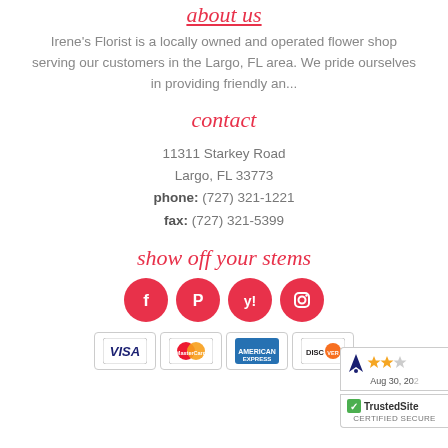about us
Irene's Florist is a locally owned and operated flower shop serving our customers in the Largo, FL area. We pride ourselves in providing friendly an...
contact
11311 Starkey Road
Largo, FL 33773
phone: (727) 321-1221
fax: (727) 321-5399
show off your stems
[Figure (infographic): Four circular red social media icons: Facebook, Pinterest, Yelp, Instagram]
[Figure (infographic): Four payment method cards: Visa, MasterCard, American Express, Discover]
[Figure (infographic): Shopper Approved rating badge showing stars and date Aug 30, 20xx, partially cropped on right]